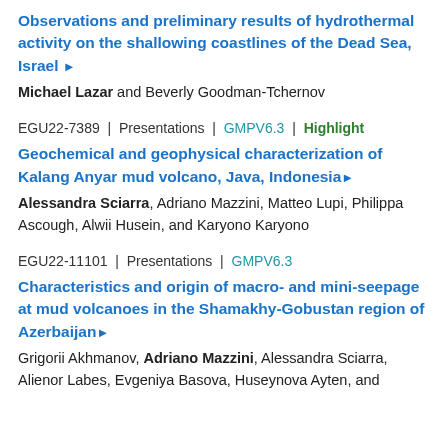EGU22-7389 | Presentations | GMPV6.3 | Highlight
Geochemical and geophysical characterization of Kalang Anyar mud volcano, Java, Indonesia
Alessandra Sciarra, Adriano Mazzini, Matteo Lupi, Philippa Ascough, Alwii Husein, and Karyono Karyono
EGU22-11101 | Presentations | GMPV6.3
Characteristics and origin of macro- and mini-seepage at mud volcanoes in the Shamakhy-Gobustan region of Azerbaijan
Grigorii Akhmanov, Adriano Mazzini, Alessandra Sciarra, Alienor Labes, Evgeniya Basova, Huseynova Ayten, and ...